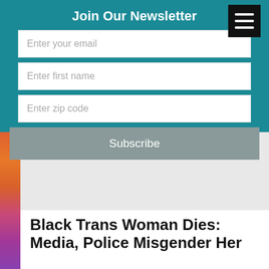Join Our Newsletter
Enter your email
Enter first name
Enter zip code
Subscribe
[Figure (photo): Partial photo of a person with long hair wearing a white top, cropped at chest level]
Black Trans Woman Dies: Media, Police Misgender Her
[Figure (photo): Photo of a crowd of people gathered in what appears to be a large hall with arched windows and chandeliers]